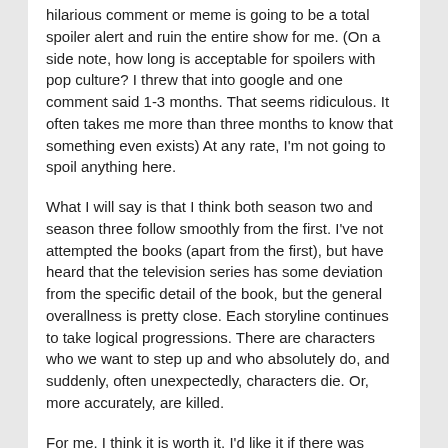hilarious comment or meme is going to be a total spoiler alert and ruin the entire show for me. (On a side note, how long is acceptable for spoilers with pop culture? I threw that into google and one comment said 1-3 months. That seems ridiculous. It often takes me more than three months to know that something even exists) At any rate, I'm not going to spoil anything here.
What I will say is that I think both season two and season three follow smoothly from the first. I've not attempted the books (apart from the first), but have heard that the television series has some deviation from the specific detail of the book, but the general overallness is pretty close. Each storyline continues to take logical progressions. There are characters who we want to step up and who absolutely do, and suddenly, often unexpectedly, characters die. Or, more accurately, are killed.
For me, I think it is worth it. I'd like it if there was some way to have it structured with less slow slow slow slow and then sudden fast and exciting, then back to the slow